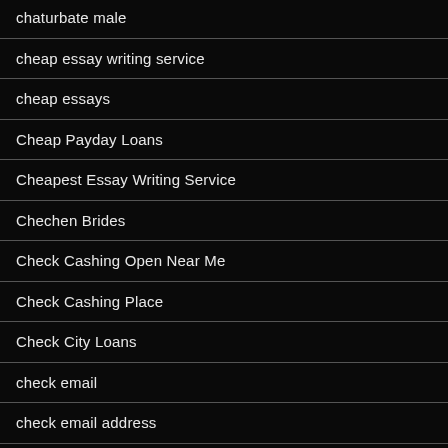chaturbate male
cheap essay writing service
cheap essays
Cheap Payday Loans
Cheapest Essay Writing Service
Chechen Brides
Check Cashing Open Near Me
Check Cashing Place
Check City Loans
check email
check email address
check if an email is valid
Check In United